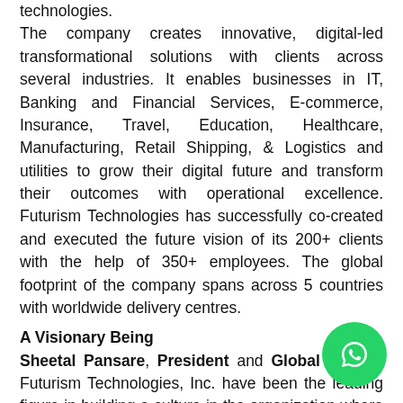technologies. The company creates innovative, digital-led transformational solutions with clients across several industries. It enables businesses in IT, Banking and Financial Services, E-commerce, Insurance, Travel, Education, Healthcare, Manufacturing, Retail Shipping, & Logistics and utilities to grow their digital future and transform their outcomes with operational excellence. Futurism Technologies has successfully co-created and executed the future vision of its 200+ clients with the help of 350+ employees. The global footprint of the company spans across 5 countries with worldwide delivery centres.
A Visionary Being
Sheetal Pansare, President and Global CEO of Futurism Technologies, Inc. have been the leading figure in building a culture in the organization where members not only accepts digital transformation but grabs on to it with both
[Figure (other): WhatsApp contact button (green circle with phone/chat icon)]